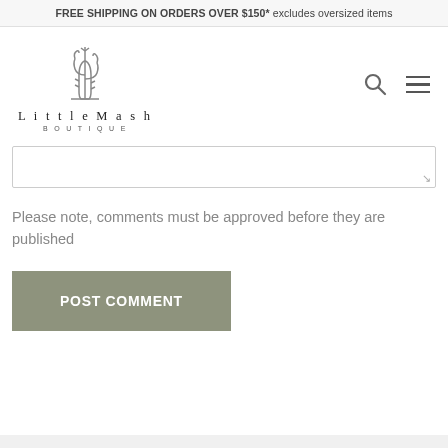FREE SHIPPING ON ORDERS OVER $150* excludes oversized items
[Figure (logo): LittleMash Boutique logo with cactus illustration and stylized text]
Please note, comments must be approved before they are published
POST COMMENT